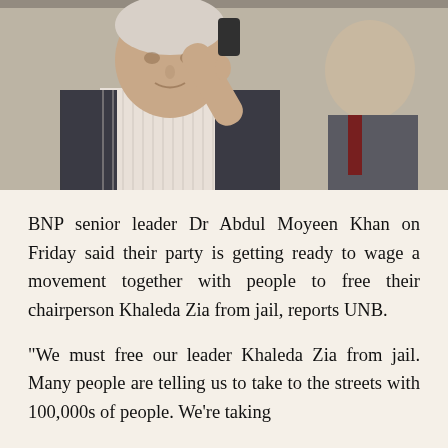[Figure (photo): Photograph of an elderly man in a checkered shirt and dark vest, holding a phone to his ear, with another man in background wearing a suit and tie.]
BNP senior leader Dr Abdul Moyeen Khan on Friday said their party is getting ready to wage a movement together with people to free their chairperson Khaleda Zia from jail, reports UNB.
"We must free our leader Khaleda Zia from jail. Many people are telling us to take to the streets with 100,000s of people. We're taking